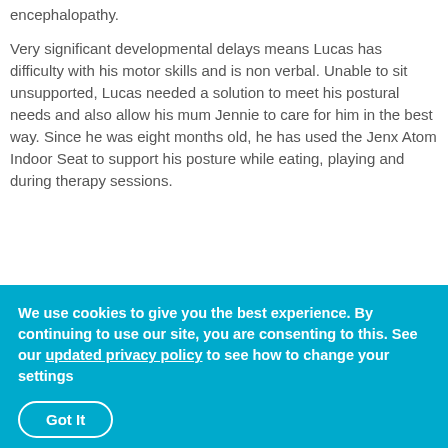encephalopathy.
Very significant developmental delays means Lucas has difficulty with his motor skills and is non verbal. Unable to sit unsupported, Lucas needed a solution to meet his postural needs and also allow his mum Jennie to care for him in the best way. Since he was eight months old, he has used the Jenx Atom Indoor Seat to support his posture while eating, playing and during therapy sessions.
So we got the Jenx Atom which made a massive difference, so the Atom has lateral supports which helps him sit up and then helps, if he is more supported in his trunk, he
We use cookies to give you the best experience. By continuing to use our site, you are consenting to this. See our updated privacy policy to see how to change your settings
Got It